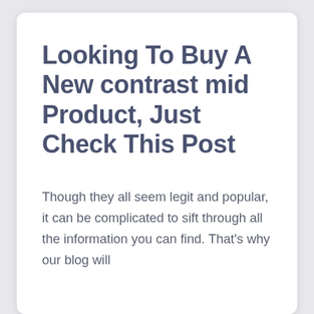Looking To Buy A New contrast mid Product, Just Check This Post
Though they all seem legit and popular, it can be complicated to sift through all the information you can find. That's why our blog will